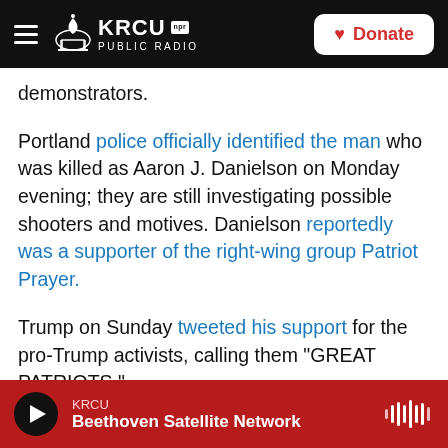KRCU NPR PUBLIC RADIO | Donate
demonstrators.
Portland police officially identified the man who was killed as Aaron J. Danielson on Monday evening; they are still investigating possible shooters and motives. Danielson reportedly was a supporter of the right-wing group Patriot Prayer.
Trump on Sunday tweeted his support for the pro-Trump activists, calling them "GREAT PATRIOTS."
Portland Mayor Ted Wheeler, a Democrat, on Sunday blamed Trump for the violence. "Do you seriously wonder, Mr. President," he asked, "why
KRCU — Beethoven Satellite Network